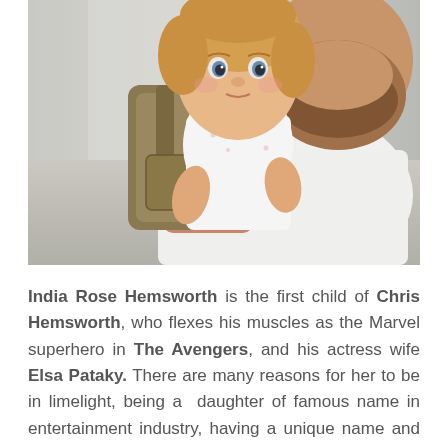[Figure (photo): A young blonde toddler girl wearing a white shirt with a large tan/olive backpack, being held by a bearded man in a white t-shirt. The image is cropped so only the lower portion of the man's face is visible.]
India Rose Hemsworth is the first child of Chris Hemsworth, who flexes his muscles as the Marvel superhero in The Avengers, and his actress wife Elsa Pataky. There are many reasons for her to be in limelight, being a daughter of famous name in entertainment industry, having a unique name and many more. She's a cute little girly hopefully will grow up to be a great actress like her father...